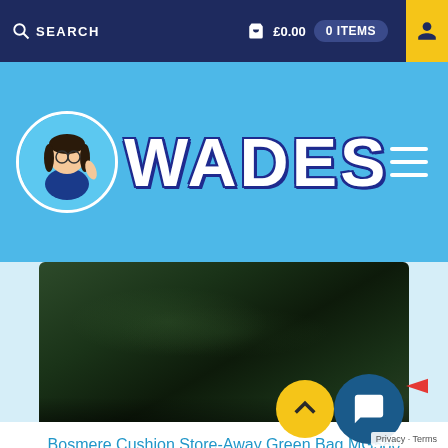SEARCH   £0.00   0 ITEMS
[Figure (logo): Wades shop logo with cartoon character and WADES text on blue banner background]
[Figure (photo): Bosmere Cushion Store-Away Green Bag MG580 - dark green fabric bag product photo]
Bosmere Cushion Store-Away Green Bag MG580
| Brand | Bosmere |
| Type | Covering |